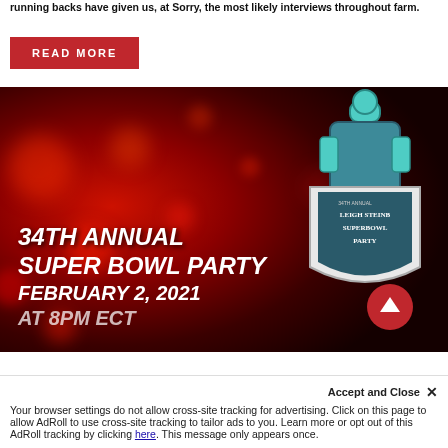running backs have given us, at Sorry, the most likely interviews throughout farm.
READ MORE
[Figure (illustration): Banner image for 34th Annual Super Bowl Party event on February 2, 2021 at 8PM ECT. Red bokeh bokeh background with white bold italic text. Right side shows Leigh Steinberg Super Bowl Party logo in teal/grey shield design. A red circle scroll-up button is visible.]
Accept and Close ✕
Your browser settings do not allow cross-site tracking for advertising. Click on this page to allow AdRoll to use cross-site tracking to tailor ads to you. Learn more or opt out of this AdRoll tracking by clicking here. This message only appears once.